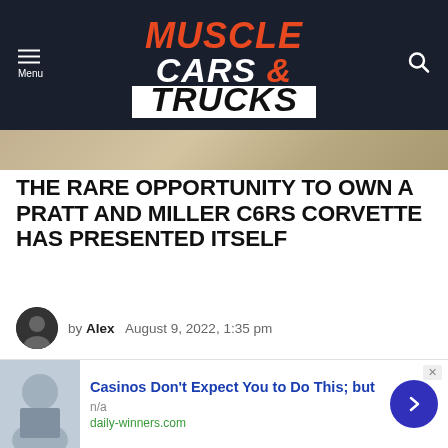MUSCLE CARS & TRUCKS
[Figure (photo): Partial hero image — sandy/rocky terrain background strip]
THE RARE OPPORTUNITY TO OWN A PRATT AND MILLER C6RS CORVETTE HAS PRESENTED ITSELF
by Alex  August 9, 2022, 1:35 pm
[Figure (photo): Desert landscape with Joshua tree silhouette, fire/trending badge in top-left corner]
Casinos Don't Expect You to Do This; but
n/a
daily-winners.com